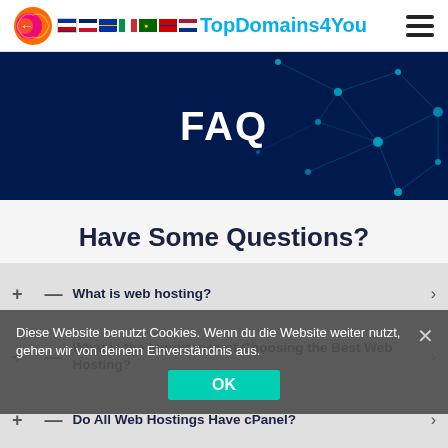TopDomains4You
[Figure (illustration): FAQ hero banner with dark blue background and network/constellation graphic on the right side]
FAQ
Have Some Questions?
+ — What is web hosting? >
+ — What is the Importance of Choosing the Best Web Hosting? >
Diese Website benutzt Cookies. Wenn du die Website weiter nutzt, gehen wir von deinem Einverständnis aus.
+ — Do All Web Hostings Have cPanel? >